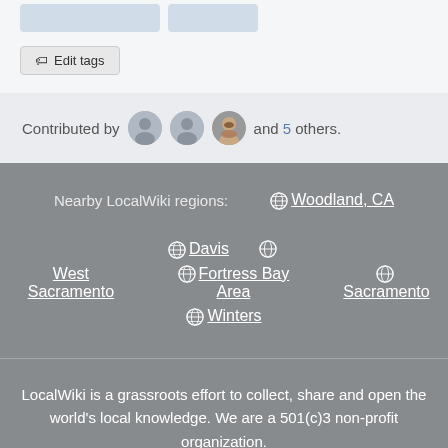[Figure (other): UI buttons placeholder row (blue/gray rounded rectangles)]
✏ Edit tags
Contributed by [avatar] [avatar] [avatar] and 5 others.
Nearby LocalWiki regions: 🌐 Woodland, CA  🌐 Davis  🌐 West Sacramento  🌐 Fortress Bay Area  🌐 Sacramento  🌐 Winters
LocalWiki is a grassroots effort to collect, share and open the world's local knowledge. We are a 501(c)3 non-profit organization.
Learn more | Privacy Policy | Terms of Use | Donate